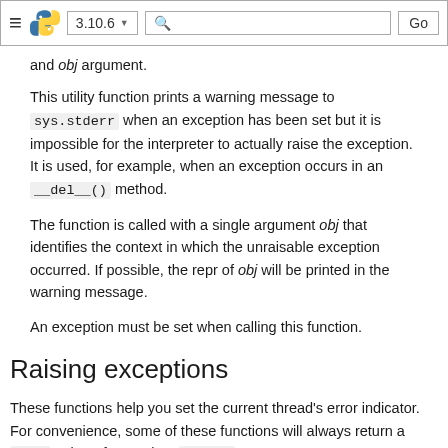≡ [Python logo] 3.10.6 ▾ [search] Go
and obj argument.
This utility function prints a warning message to sys.stderr when an exception has been set but it is impossible for the interpreter to actually raise the exception. It is used, for example, when an exception occurs in an __del__() method.
The function is called with a single argument obj that identifies the context in which the unraisable exception occurred. If possible, the repr of obj will be printed in the warning message.
An exception must be set when calling this function.
Raising exceptions
These functions help you set the current thread's error indicator. For convenience, some of these functions will always return a NULL pointer for use in a return statement.
void PyErr_SetString(PyObject *type, const char